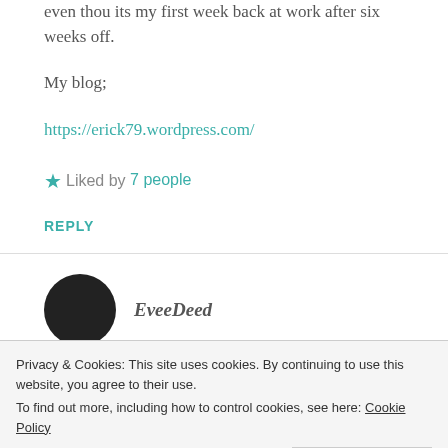even thou its my first week back at work after six weeks off.
My blog;
https://erick79.wordpress.com/
★ Liked by 7 people
REPLY
[Figure (illustration): Dark circular avatar image, partially visible, with italic bold author name partially cut off]
Privacy & Cookies: This site uses cookies. By continuing to use this website, you agree to their use. To find out more, including how to control cookies, see here: Cookie Policy
Close and accept
able to stick with the Harry Potter